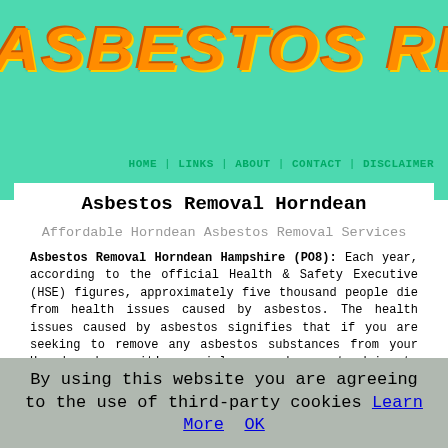ASBESTOS REMOVAL
HOME | LINKS | ABOUT | CONTACT | DISCLAIMER
Asbestos Removal Horndean
Affordable Horndean Asbestos Removal Services
Asbestos Removal Horndean Hampshire (PO8): Each year, according to the official Health & Safety Executive (HSE) figures, approximately five thousand people die from health issues caused by asbestos. The health issues caused by asbestos signifies that if you are seeking to remove any asbestos substances from your Horndean home, it's crucial you seek expert advice to accomplish the task safely. If you're working on an old building and discovered something you suspect might be asbestos, you must stop work immediately and seek the advice of a certified asbestos removal specialist. You will need these specialists to
By using this website you are agreeing to the use of third-party cookies Learn More  OK